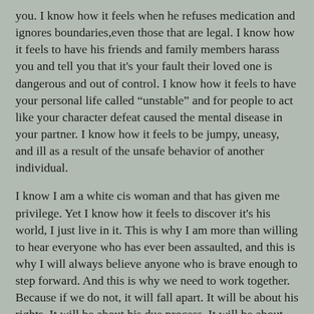you. I know how it feels when he refuses medication and ignores boundaries,even those that are legal. I know how it feels to have his friends and family members harass you and tell you that it's your fault their loved one is dangerous and out of control. I know how it feels to have your personal life called "unstable" and for people to act like your character defeat caused the mental disease in your partner. I know how it feels to be jumpy, uneasy, and ill as a result of the unsafe behavior of another individual.
I know I am a white cis woman and that has given me privilege. Yet I know how it feels to discover it's his world, I just live in it. This is why I am more than willing to hear everyone who has ever been assaulted, and this is why I will always believe anyone who is brave enough to step forward. And this is why we need to work together. Because if we do not, it will fall apart. It will be about his rights. It will be about his due process. It will be about him getting released early from prison and his victim being afraid. It will be about some lawyer dragging someone who comes forward through the mud and the culture getting an okay.